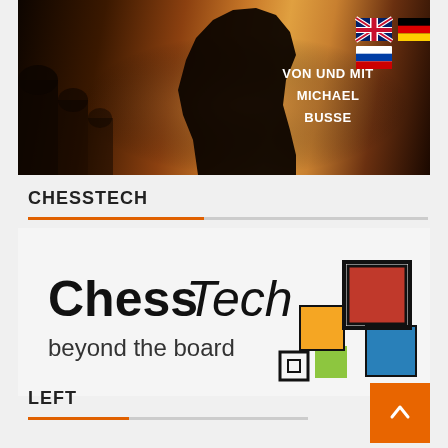[Figure (photo): Chess knight piece silhouette on warm orange/gold background with text 'VON UND MIT MICHAEL BUSSE' and UK, German, Russian flag icons]
CHESSTECH
[Figure (logo): ChessTech beyond the board logo with colorful squares icon]
LEFT